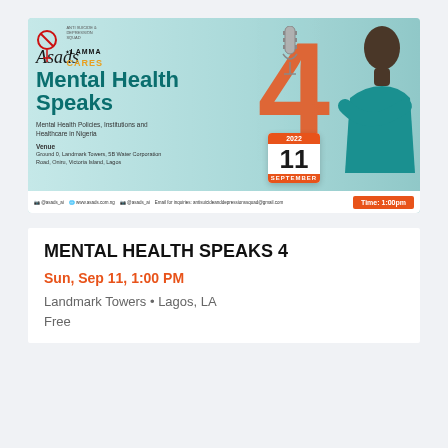[Figure (infographic): Event promotional banner for 'Asads Mental Health Speaks 4' showing a smiling man in teal shirt with arms crossed, a large orange number 4, a microphone, calendar showing September 11 2022, and LAMMA CARES logo. Text includes Mental Health Policies, Institutions and Healthcare in Nigeria, venue at Ground 0 Landmark Towers, and contact/social media info in footer bar.]
MENTAL HEALTH SPEAKS 4
Sun, Sep 11, 1:00 PM
Landmark Towers • Lagos, LA
Free